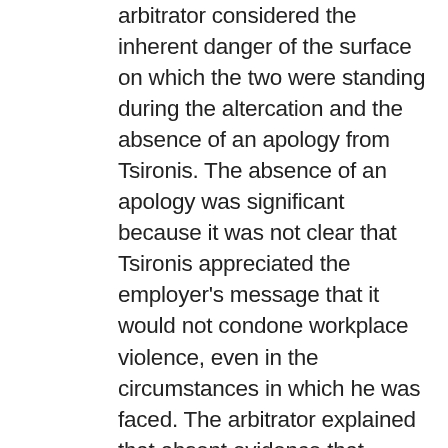arbitrator considered the inherent danger of the surface on which the two were standing during the altercation and the absence of an apology from Tsironis. The absence of an apology was significant because it was not clear that Tsironis appreciated the employer's message that it would not condone workplace violence, even in the circumstances in which he was faced. The arbitrator explained that absent evidence that Tsironis and Bultje would be able to successfully reconcile their differences, the employer would suffer the burden of having to ensure that the two employees were kept apart, which was not considered reasonable when the concern arises from the inability of the two employees controlling their personal interactions.